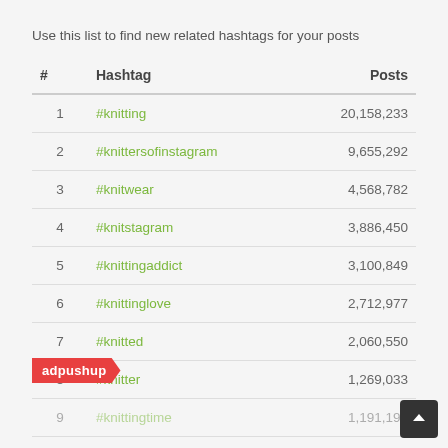Use this list to find new related hashtags for your posts
| # | Hashtag | Posts |
| --- | --- | --- |
| 1 | #knitting | 20,158,233 |
| 2 | #knittersofinstagram | 9,655,292 |
| 3 | #knitwear | 4,568,782 |
| 4 | #knitstagram | 3,886,450 |
| 5 | #knittingaddict | 3,100,849 |
| 6 | #knittinglove | 2,712,977 |
| 7 | #knitted | 2,060,550 |
| 8 | #knitter | 1,269,033 |
| 9 | #knittingtime | 1,191,195 |
| 10 | #knitters | 997,693 |